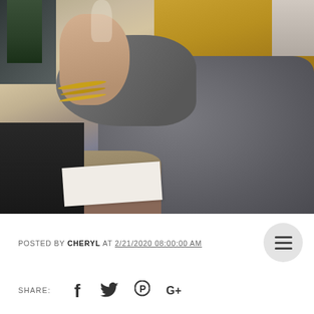[Figure (photo): A woman with blonde hair wearing a gray sweater, seated at an outdoor cafe table, holding up a wine glass. She is wearing gold bracelets. A white paper/menu is visible on the table. Dark chair visible in background.]
POSTED BY CHERYL AT 2/21/2020 08:00:00 AM
SHARE: